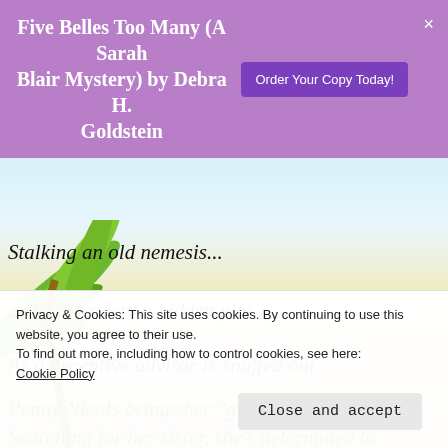Five Belles Too Many (A Sarah Blair Mystery) by Debra H. Goldstein | Order Your Copy Today!
[Figure (illustration): Beach background scene with palm leaves, blue sky, and sandy beach]
Stalking an old nemesis...
...she discovers a hidden plot.
As a deceptive advisor is snuffed out.
Penny Nicols brings her “gift” to Billington. Searching for her sister, she’s determined to
Privacy & Cookies: This site uses cookies. By continuing to use this website, you agree to their use.
To find out more, including how to control cookies, see here:
Cookie Policy
Close and accept